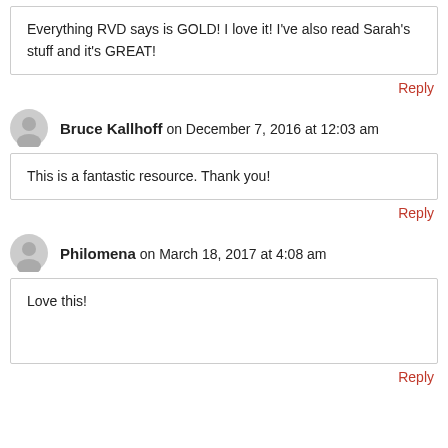Cassie on October 29, 2016 at 10:05 pm
Everything RVD says is GOLD! I love it! I've also read Sarah's stuff and it's GREAT!
Reply
Bruce Kallhoff on December 7, 2016 at 12:03 am
This is a fantastic resource. Thank you!
Reply
Philomena on March 18, 2017 at 4:08 am
Love this!
Reply